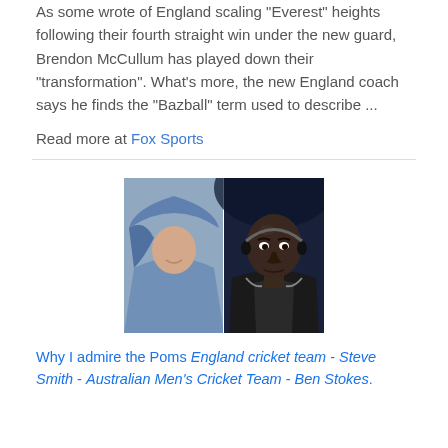As some wrote of England scaling "Everest" heights following their fourth straight win under the new guard, Brendon McCullum has played down their "transformation". What's more, the new England coach says he finds the "Bazball" term used to describe ...
Read more at Fox Sports
[Figure (photo): Composite photo showing two people side by side: on the left, a person wearing a light blue hoodie partially obscuring their face; on the right, a bald Black man looking directly at the camera, wearing a dark jacket with headphones around his neck.]
Why I admire the Poms England cricket team - Steve Smith - Australian Men's Cricket Team - Ben Stokes.